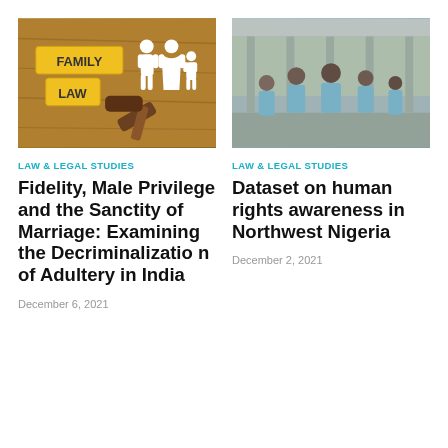[Figure (photo): Family law themed image with wooden letter blocks spelling FAMILY LAW, paper family cutouts, and a judge's gavel on a wooden table]
[Figure (photo): Photo of school students in light blue uniforms standing in a school corridor or classroom]
LAW & LEGAL STUDIES
Fidelity, Male Privilege and the Sanctity of Marriage: Examining the Decriminalization of Adultery in India
December 6, 2021
LAW & LEGAL STUDIES
Dataset on human rights awareness in Northwest Nigeria
December 2, 2021